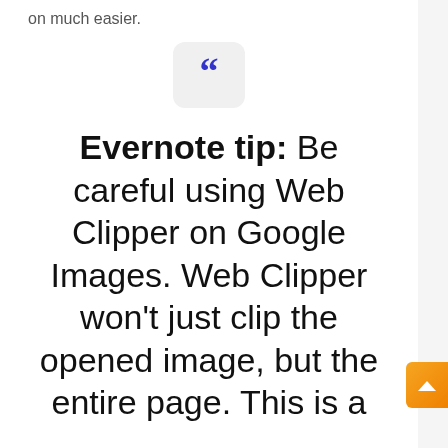on much easier.
[Figure (illustration): Blue double open-quotation mark icon inside a rounded light grey square box]
Evernote tip: Be careful using Web Clipper on Google Images. Web Clipper won't just clip the opened image, but the entire page. This is a